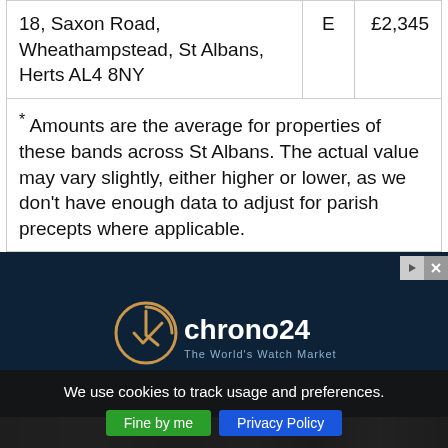| Address | Band | Amount |
| --- | --- | --- |
| 18, Saxon Road, Wheathampstead, St Albans, Herts AL4 8NY | E | £2,345 |
* Amounts are the average for properties of these bands across St Albans. The actual value may vary slightly, either higher or lower, as we don't have enough data to adjust for parish precepts where applicable.
[Figure (logo): Chrono24 – The World's Watch Market logo on dark navy background]
[Figure (photo): Advertisement strip with watch images]
We use cookies to track usage and preferences.